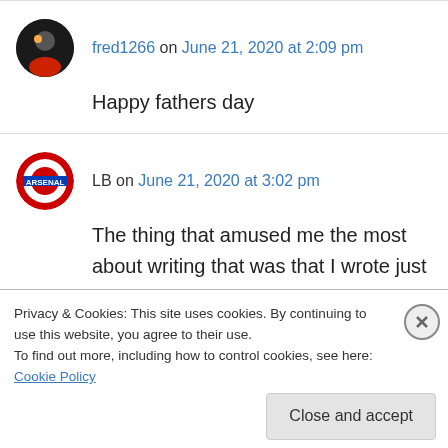fred1266 on June 21, 2020 at 2:09 pm
Happy fathers day
LB on June 21, 2020 at 3:02 pm
The thing that amused me the most about writing that was that I wrote just one word on the game and that was “Meh” I would have used an
Privacy & Cookies: This site uses cookies. By continuing to use this website, you agree to their use.
To find out more, including how to control cookies, see here: Cookie Policy
Close and accept